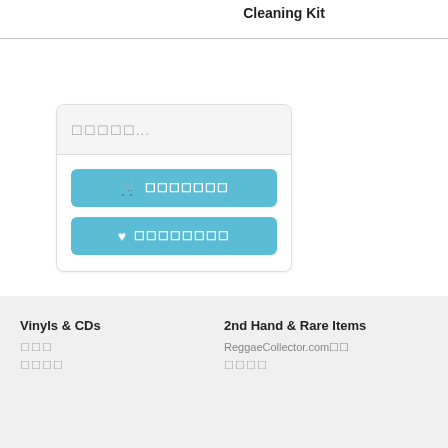Cleaning Kit
[Figure (screenshot): E-commerce product page widget with a text input field showing placeholder text, an Add to Cart button with cart icon, and a Wishlist button with heart icon, all in teal/blue color scheme]
▼ (dropdown label in teal)
Vinyls & CDs
2nd Hand & Rare Items
ReggaeCollector.com（redacted）